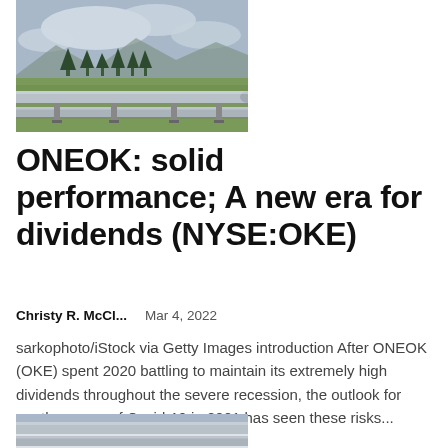[Figure (photo): Pipeline running across an open field with conifer trees and mountains in the background under cloudy sky]
ONEOK: solid performance; A new era for dividends (NYSE:OKE)
Christy R. McCl...    Mar 4, 2022
sarkophoto/iStock via Getty Images introduction After ONEOK (OKE) spent 2020 battling to maintain its extremely high dividends throughout the severe recession, the outlook for another wave of Covid-19 in 2021 has seen these risks...
[Figure (photo): Pipeline image partially visible at bottom of page]